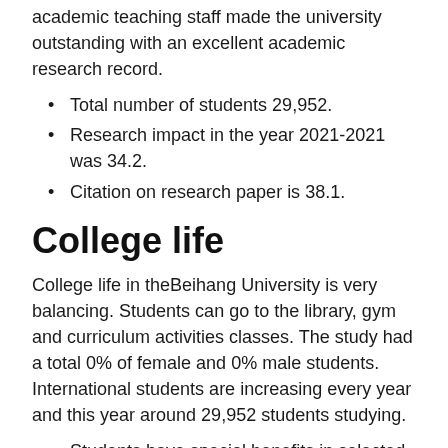academic teaching staff made the university outstanding with an excellent academic research record.
Total number of students 29,952.
Research impact in the year 2021-2021 was 34.2.
Citation on research paper is 38.1.
College life
College life in theBeihang University is very balancing. Students can go to the library, gym and curriculum activities classes. The study had a total 0% of female and 0% male students. International students are increasing every year and this year around 29,952 students studying.
Students have special benefits in selected places such as museums, stores and workshops around the China.
Affordable students can get better conditions...